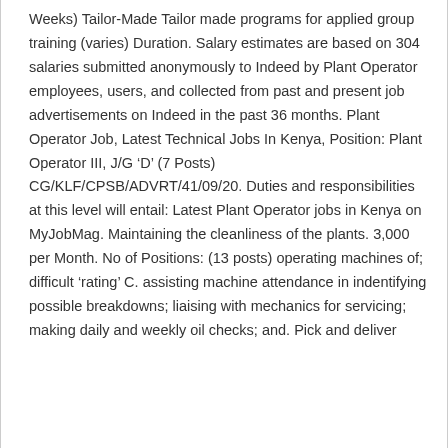Weeks) Tailor-Made Tailor made programs for applied group training (varies) Duration. Salary estimates are based on 304 salaries submitted anonymously to Indeed by Plant Operator employees, users, and collected from past and present job advertisements on Indeed in the past 36 months. Plant Operator Job, Latest Technical Jobs In Kenya, Position: Plant Operator III, J/G ‘D’ (7 Posts) CG/KLF/CPSB/ADVRT/41/09/20. Duties and responsibilities at this level will entail: Latest Plant Operator jobs in Kenya on MyJobMag. Maintaining the cleanliness of the plants. 3,000 per Month. No of Positions: (13 posts) operating machines of; difficult ‘rating’ C. assisting machine attendance in indentifying possible breakdowns; liaising with mechanics for servicing; making daily and weekly oil checks; and. Pick and deliver